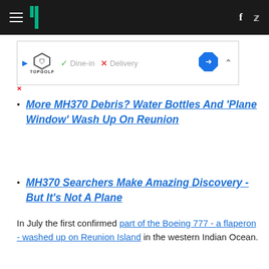HuffPost navigation bar with hamburger menu, logo, Facebook and Twitter icons
[Figure (screenshot): Advertisement banner: TopGolf logo with play button, checkmark Dine-in, X Delivery, blue diamond navigation icon]
More MH370 Debris? Water Bottles And 'Plane Window' Wash Up On Reunion
MH370 Searchers Make Amazing Discovery - But It's Not A Plane
In July the first confirmed part of the Boeing 777 - a flaperon - washed up on Reunion Island in the western Indian Ocean.